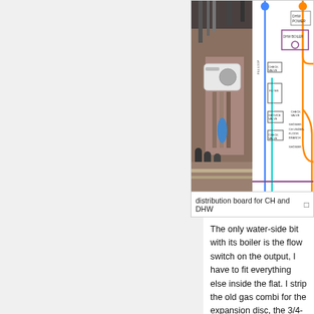[Figure (photo): Left half: photograph of a boiler/plumbing distribution board with pipes, valves, and a white flow unit. Right half: schematic diagram showing CH and DHW plumbing circuit with colored flow lines (blue, orange, cyan, purple), labeled components including DHW POWER, DHW BOILER, CHECK VALVE, FILTER, SERVICE VALVE, FILL LOOP, SHOWER, CH UNDER-FLOOR BRANCH.]
distribution board for CH and DHW
The only water-side bit with its boiler is the flow switch on the output, I have to fit everything else inside the flat. I strip the old gas combi for the expansion disc, the 3/4-inch ball-valves and the gauges. I board the inside of the bathroom cupboard, about 600 wide and 1800